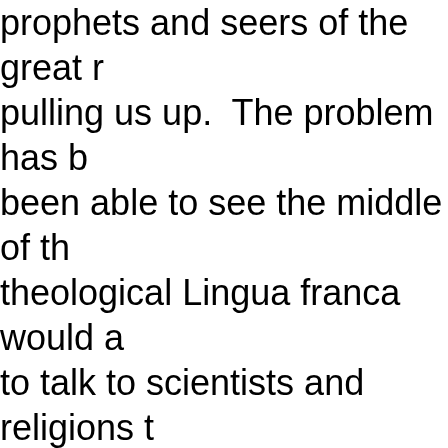prophets and seers of the great pulling us up. The problem has been able to see the middle of the theological Lingua franca would allow to talk to scientists and religions and unbelievers. Crucially the religions able to talk to each other using the would allow religions to share the verifiability of scientific observations spiritually enhancing benefits of making sense of life. Interestingly, be an increasingly achievable goal century the religious and scientific been quietly conversing, si...